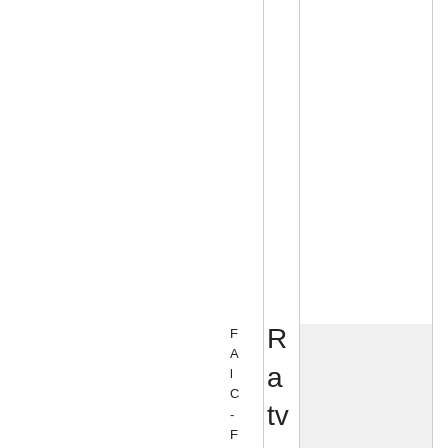|  |  |  |
| F A l C - F l V f | R a tv a s k y, T. |  |